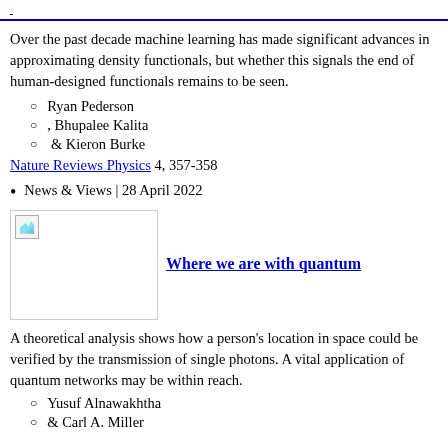[link text truncated — partially visible at top]
Over the past decade machine learning has made significant advances in approximating density functionals, but whether this signals the end of human-designed functionals remains to be seen.
Ryan Pederson
, Bhupalee Kalita
& Kieron Burke
Nature Reviews Physics 4, 357-358
News & Views | 28 April 2022
[Figure (photo): Thumbnail image placeholder for article about quantum]
Where we are with quantum
A theoretical analysis shows how a person's location in space could be verified by the transmission of single photons. A vital application of quantum networks may be within reach.
Yusuf Alnawakhtha
& Carl A. Miller